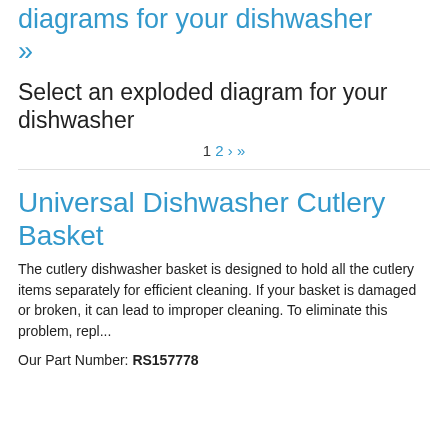diagrams for your dishwasher »
Select an exploded diagram for your dishwasher
1 2 › »
Universal Dishwasher Cutlery Basket
The cutlery dishwasher basket is designed to hold all the cutlery items separately for efficient cleaning. If your basket is damaged or broken, it can lead to improper cleaning. To eliminate this problem, repl...
Our Part Number: RS157778